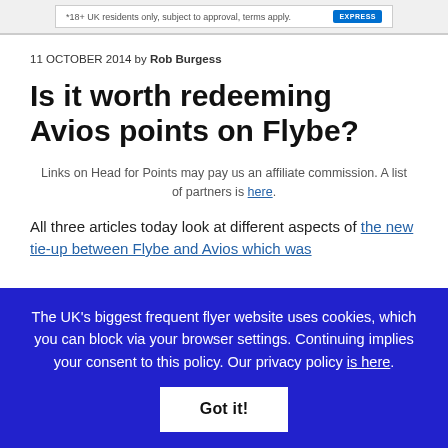*18+ UK residents only, subject to approval, terms apply.
11 OCTOBER 2014 by Rob Burgess
Is it worth redeeming Avios points on Flybe?
Links on Head for Points may pay us an affiliate commission. A list of partners is here.
All three articles today look at different aspects of the new tie-up between Flybe and Avios which was
The UK's biggest frequent flyer website uses cookies, which you can block via your browser settings. Continuing implies your consent to this policy. Our privacy policy is here.